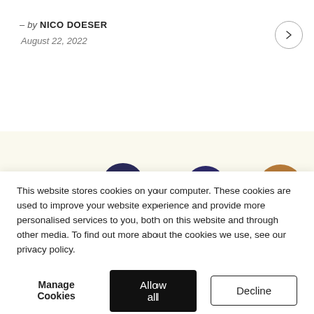– by NICO DOESER
August 22, 2022
[Figure (illustration): Illustration showing the tops of four people's heads with different hair colors and styles against a light cream background]
This website stores cookies on your computer. These cookies are used to improve your website experience and provide more personalised services to you, both on this website and through other media. To find out more about the cookies we use, see our privacy policy.
Manage Cookies  Allow all  Decline